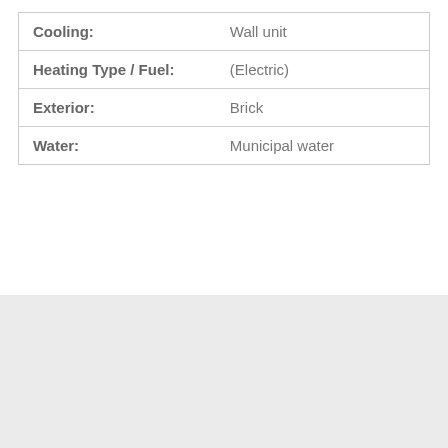| Property Feature | Value |
| --- | --- |
| Cooling: | Wall unit |
| Heating Type / Fuel: | (Electric) |
| Exterior: | Brick |
| Water: | Municipal water |